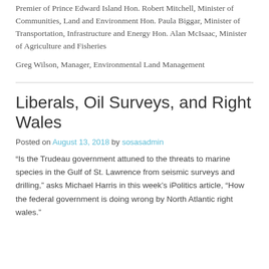Premier of Prince Edward Island Hon. Robert Mitchell, Minister of Communities, Land and Environment Hon. Paula Biggar, Minister of Transportation, Infrastructure and Energy Hon. Alan McIsaac, Minister of Agriculture and Fisheries
Greg Wilson, Manager, Environmental Land Management
Liberals, Oil Surveys, and Right Wales
Posted on August 13, 2018 by sosasadmin
“Is the Trudeau government attuned to the threats to marine species in the Gulf of St. Lawrence from seismic surveys and drilling,” asks Michael Harris in this week’s iPolitics article, “How the federal government is doing wrong by North Atlantic right wales.”